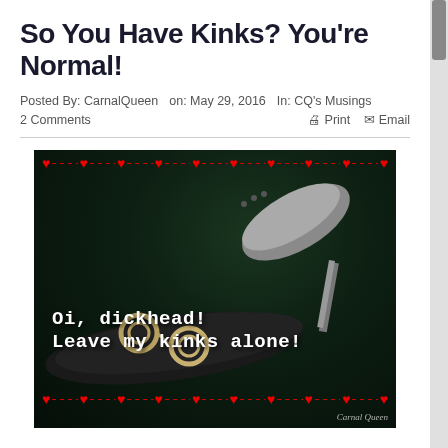So You Have Kinks? You're Normal!
Posted By: CarnalQueen  on: May 29, 2016  In: CQ's Musings
2 Comments    🖨 Print  ✉ Email
[Figure (photo): Dark background photo featuring a metallic high-heeled shoe with studs, black leather gloves, and handcuffs. Red hearts border the top and bottom. White bold text reads 'Oi, dickhead! Leave my kinks alone!' Watermark: Carnal Queen.]